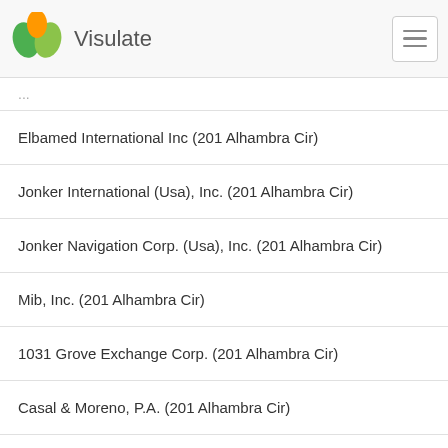Visulate
Elbamed International Inc (201 Alhambra Cir)
Jonker International (Usa), Inc. (201 Alhambra Cir)
Jonker Navigation Corp. (Usa), Inc. (201 Alhambra Cir)
Mib, Inc. (201 Alhambra Cir)
1031 Grove Exchange Corp. (201 Alhambra Cir)
Casal & Moreno, P.A. (201 Alhambra Cir)
Hollywood Income Property, Inc. (201 Alhambra Cir)
Vincent B. Flor, P.A. (201 Alhambra Cir)
Sommo Holdings And Investments Corp. (201 Alhambra Cir)